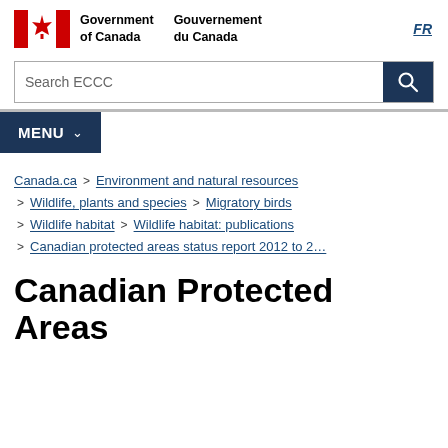Government of Canada / Gouvernement du Canada — FR
Search ECCC
MENU
Canada.ca > Environment and natural resources > Wildlife, plants and species > Migratory birds > Wildlife habitat > Wildlife habitat: publications > Canadian protected areas status report 2012 to 2...
Canadian Protected Areas